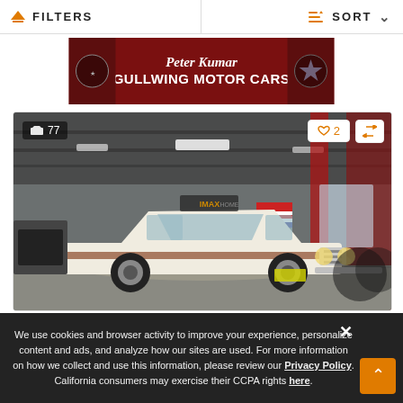FILTERS   SORT
[Figure (advertisement): Peter Kumar GULLWING MOTOR CARS advertisement banner with dark red background]
[Figure (photo): Vintage white classic car (early 1960s) parked inside a car dealership garage. Photo count badge shows 77 images. Heart/favorite button shows 2 likes. Compare button visible.]
We use cookies and browser activity to improve your experience, personalize content and ads, and analyze how our sites are used. For more information on how we collect and use this information, please review our Privacy Policy. California consumers may exercise their CCPA rights here.